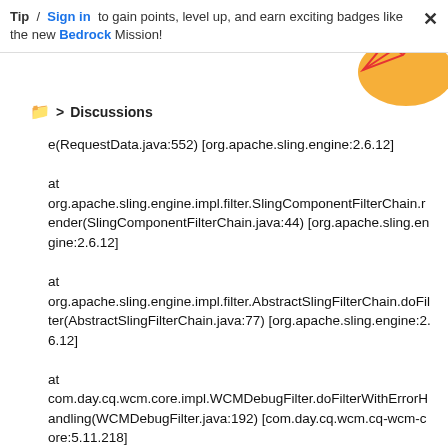Tip / Sign in to gain points, level up, and earn exciting badges like the new Bedrock Mission!
📁 > Discussions
e(RequestData.java:552) [org.apache.sling.engine:2.6.12]

at
org.apache.sling.engine.impl.filter.SlingComponentFilterChain.render(SlingComponentFilterChain.java:44) [org.apache.sling.engine:2.6.12]

at
org.apache.sling.engine.impl.filter.AbstractSlingFilterChain.doFilter(AbstractSlingFilterChain.java:77) [org.apache.sling.engine:2.6.12]

at
com.day.cq.wcm.core.impl.WCMDebugFilter.doFilterWithErrorHandling(WCMDebugFilter.java:192) [com.day.cq.wcm.cq-wcm-core:5.11.218]

at
com.day.cq.wcm.core.impl.WCMDebugFilter.doFilter(WC